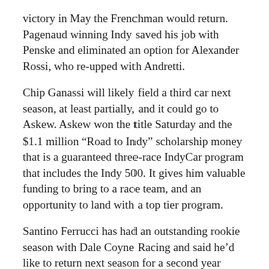victory in May the Frenchman would return. Pagenaud winning Indy saved his job with Penske and eliminated an option for Alexander Rossi, who re-upped with Andretti.
Chip Ganassi will likely field a third car next season, at least partially, and it could go to Askew. Askew won the title Saturday and the $1.1 million “Road to Indy” scholarship money that is a guaranteed three-race IndyCar program that includes the Indy 500. It gives him valuable funding to bring to a race team, and an opportunity to land with a top tier program.
Santino Ferrucci has had an outstanding rookie season with Dale Coyne Racing and said he’d like to return next season for a second year studying under four-time series champion Sebastien Bourdais.
“I’m pretty sure I’m going to be where I am, I don’t think there will be too much change,” Ferrucci told